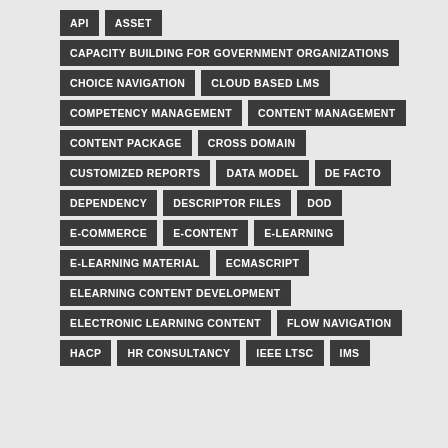API
ASSET
CAPACITY BUILDING FOR GOVERNMENT ORGANIZATIONS
CHOICE NAVIGATION
CLOUD BASED LMS
COMPETENCY MANAGEMENT
CONTENT MANAGEMENT
CONTENT PACKAGE
CROSS DOMAIN
CUSTOMIZED REPORTS
DATA MODEL
DE FACTO
DEPENDENCY
DESCRIPTOR FILES
DOD
E-COMMERCE
E-CONTENT
E-LEARNING
E-LEARNING MATERIAL
ECMASCRIPT
ELEARNING CONTENT DEVELOPMENT
ELECTRONIC LEARNING CONTENT
FLOW NAVIGATION
HACP
HR CONSULTANCY
IEEE LTSC
IMS